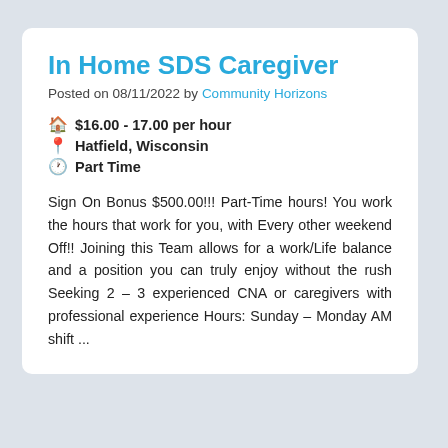In Home SDS Caregiver
Posted on 08/11/2022 by Community Horizons
$16.00 - 17.00 per hour
Hatfield, Wisconsin
Part Time
Sign On Bonus $500.00!!! Part-Time hours! You work the hours that work for you, with Every other weekend Off!! Joining this Team allows for a work/Life balance and a position you can truly enjoy without the rush Seeking 2 – 3 experienced CNA or caregivers with professional experience Hours: Sunday – Monday AM shift ...